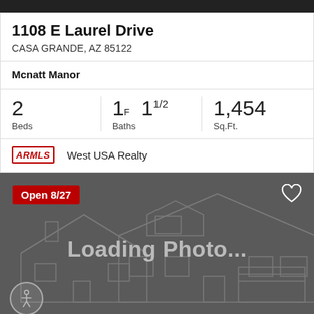1108 E Laurel Drive
CASA GRANDE, AZ 85122
Mcnatt Manor
2 Beds | 1F 11/2 Baths | 1,454 Sq.Ft.
ARMLS  West USA Realty
[Figure (photo): Loading photo placeholder with house illustration outline on dark gray background. Shows 'Open 8/27' badge, heart icon, accessibility icon, and 'Loading Photo...' text.]